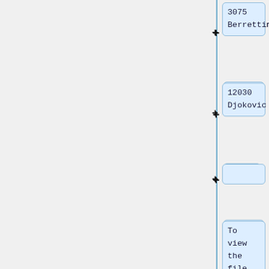3075
Berrettini
12030
Djokovic
To view the file content you can use the following commands:
$> cat atp.txt
$> more atp.txt
# <space>